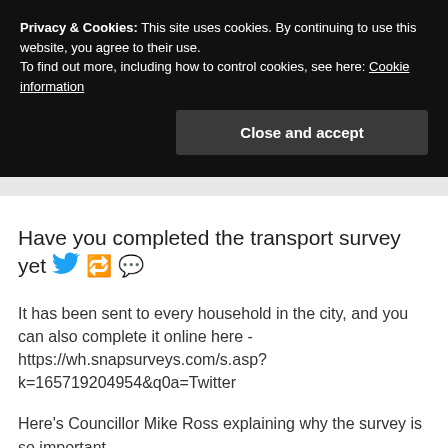Privacy & Cookies: This site uses cookies. By continuing to use this website, you agree to their use.
To find out more, including how to control cookies, see here: Cookie information
Close and accept
Have you completed the transport survey yet 🐦 🔁 💬
It has been sent to every household in the city, and you can also complete it online here - https://wh.snapsurveys.com/s.asp?k=165719204954&q0a=Twitter
Here's Councillor Mike Ross explaining why the survey is so important